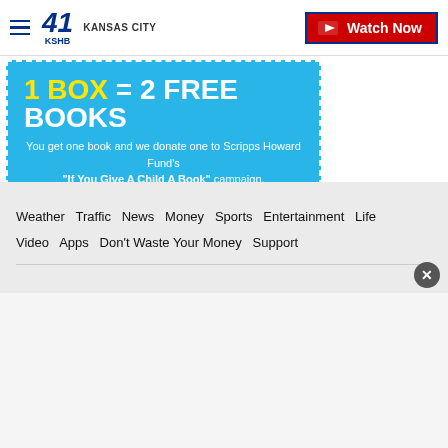KSHB 41 Kansas City | Watch Now
[Figure (illustration): KSHB 41 Kansas City news website advertisement banner in cyan/blue background with dashed white border. Large bold text reads '1 BOX = 2 FREE BOOKS' with '1 BOX' in yellow. Below: 'You get one book and we donate one to Scripps Howard Fund's "If You Give A Child A Book" campaign.']
Weather  Traffic  News  Money  Sports  Entertainment  Life  Video  Apps  Don't Waste Your Money  Support